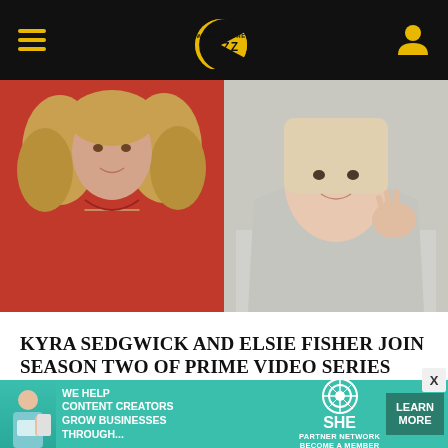Where Is The Buzz
[Figure (photo): Side-by-side photos: left shows a woman with curly blonde hair wearing a red blouse; right shows a woman in a light grey hoodie touching her face]
KYRA SEDGWICK AND ELSIE FISHER JOIN SEASON TWO OF PRIME VIDEO SERIES THE SUMMER I TURNED PRETTY
Prime Video
[Figure (infographic): Advertisement banner: SHE Media Partner Network - We help content creators grow businesses through... Learn More button]